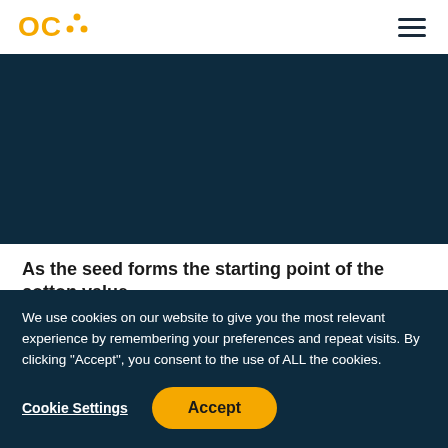OCA [logo with dots]
[Figure (photo): Dark navy blue hero image area, possibly showing cotton or agricultural content, partially visible]
As the seed forms the starting point of the cotton value chain, the organic cotton sector needs to ensure the
We use cookies on our website to give you the most relevant experience by remembering your preferences and repeat visits. By clicking “Accept”, you consent to the use of ALL the cookies.
Cookie Settings   Accept